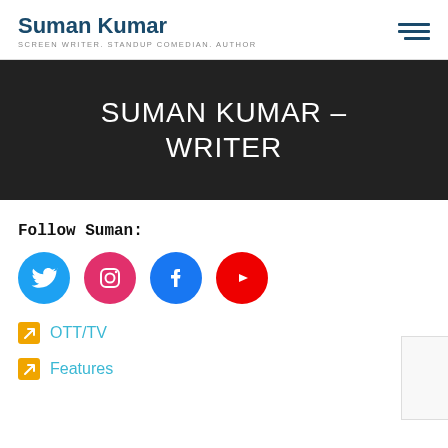Suman Kumar — SCREEN WRITER. STANDUP COMEDIAN. AUTHOR
SUMAN KUMAR – WRITER
Follow Suman:
[Figure (infographic): Four social media icons: Twitter (blue), Instagram (pink/magenta), Facebook (blue), YouTube (red)]
OTT/TV
Features